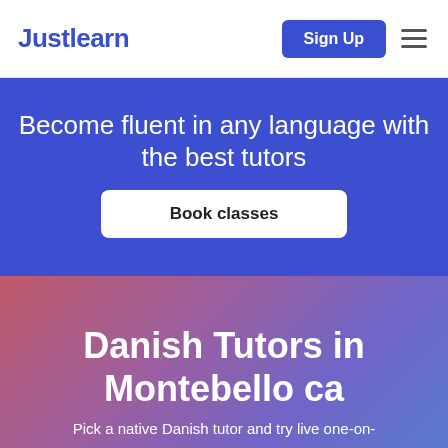Justlearn
Become fluent in any language with the best tutors
Book classes
Danish Tutors in Montebello ca
Pick a native Danish tutor and try live one-on-